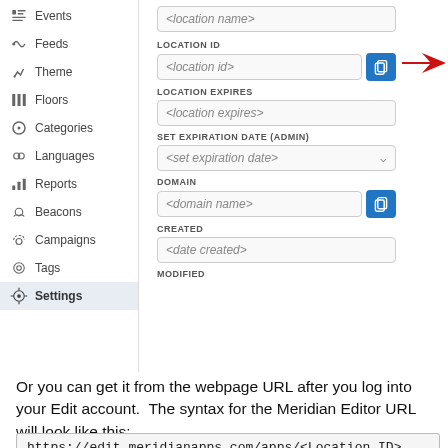[Figure (screenshot): Screenshot of a sidebar navigation menu with items: Events, Feeds, Theme, Floors, Categories, Languages, Reports, Beacons, Campaigns, Tags, Settings (active/highlighted). To the right is a form panel showing fields: location name (partially visible at top), LOCATION ID with a copy button and a red arrow pointing to it, LOCATION EXPIRES, SET EXPIRATION DATE (ADMIN) with dropdown, DOMAIN with copy button, CREATED, MODIFIED.]
Or you can get it from the webpage URL after you log into your Edit account.  The syntax for the Meridian Editor URL will look like this:
https://edit.meridianapps.com/apps/<Location ID>